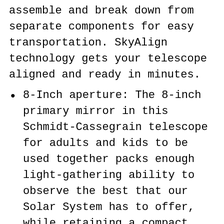assemble and break down from separate components for easy transportation. SkyAlign technology gets your telescope aligned and ready in minutes.
8-Inch aperture: The 8-inch primary mirror in this Schmidt-Cassegrain telescope for adults and kids to be used together packs enough light-gathering ability to observe the best that our Solar System has to offer, while retaining a compact form factor. Compatible with starsense technology, Wifi
Nexstar computerized telescope: The NexStar 8SE Computerized Telescope features Celestron's iconic orange tube design with updated technology and the latest features for amazing stargazing for beginners and experienced observers.